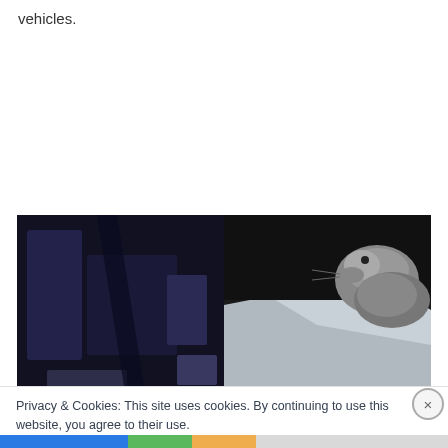vehicles.
[Figure (photo): Split photo showing interior of a vehicle on the left (dark seat/seatbelt area) and a small furry animal (possibly a groundhog or rodent) near a car window on the right.]
Privacy & Cookies: This site uses cookies. By continuing to use this website, you agree to their use.
To find out more, including how to control cookies, see here: Cookie Policy
Close and accept